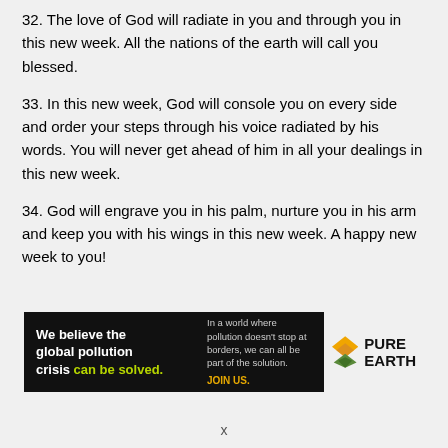32. The love of God will radiate in you and through you in this new week. All the nations of the earth will call you blessed.
33. In this new week, God will console you on every side and order your steps through his voice radiated by his words. You will never get ahead of him in all your dealings in this new week.
34. God will engrave you in his palm, nurture you in his arm and keep you with his wings in this new week. A happy new week to you!
[Figure (infographic): Pure Earth advertisement banner: black background with text 'We believe the global pollution crisis can be solved.' and 'In a world where pollution doesn't stop at borders, we can all be part of the solution. JOIN US.' with Pure Earth logo.]
x